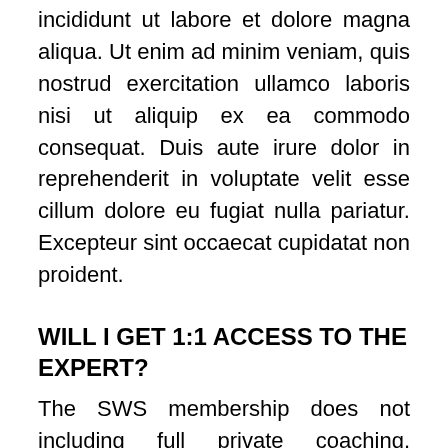incididunt ut labore et dolore magna aliqua. Ut enim ad minim veniam, quis nostrud exercitation ullamco laboris nisi ut aliquip ex ea commodo consequat. Duis aute irure dolor in reprehenderit in voluptate velit esse cillum dolore eu fugiat nulla pariatur. Excepteur sint occaecat cupidatat non proident.
WILL I GET 1:1 ACCESS TO THE EXPERT?
The SWS membership does not including full private coaching. However, in the membership you will have weekly support from Sammy and her Registered Dietitians,